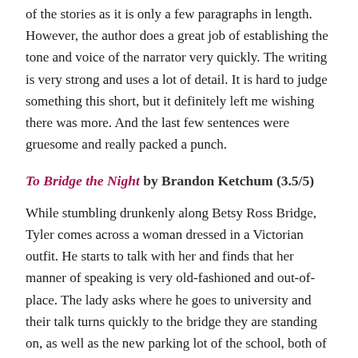of the stories as it is only a few paragraphs in length. However, the author does a great job of establishing the tone and voice of the narrator very quickly. The writing is very strong and uses a lot of detail. It is hard to judge something this short, but it definitely left me wishing there was more. And the last few sentences were gruesome and really packed a punch.
To Bridge the Night by Brandon Ketchum (3.5/5)
While stumbling drunkenly along Betsy Ross Bridge, Tyler comes across a woman dressed in a Victorian outfit. He starts to talk with her and finds that her manner of speaking is very old-fashioned and out-of-place. The lady asks where he goes to university and their talk turns quickly to the bridge they are standing on, as well as the new parking lot of the school, both of which have recently been completed. They were both built on land that previously consisted of cemeteries and, mid-conversation, Tyler finds the woman suddenly becoming quite angry.